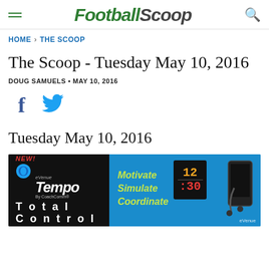FootballScoop
HOME › THE SCOOP
The Scoop - Tuesday May 10, 2016
DOUG SAMUELS • MAY 10, 2016
[Figure (other): Social media icons: Facebook (f) and Twitter (bird)]
Tuesday May 10, 2016
[Figure (infographic): Advertisement banner for eVenue Tempo by CoachComm. Left dark background shows NEW! label, eVenue Tempo By CoachComm logo, and 'Total Control' text. Right blue background shows 'Motivate', 'Simulate', 'Coordinate' text in yellow-green. A scoreboard showing 12:30 and a headset device are visible.]